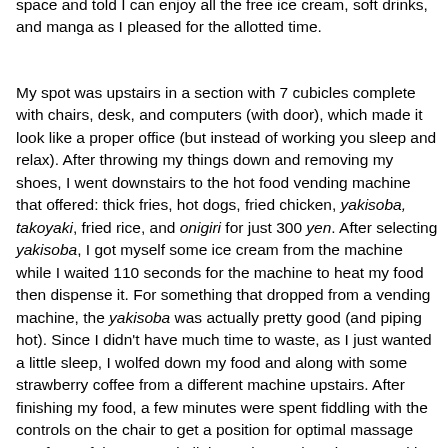space and told I can enjoy all the free ice cream, soft drinks, and manga as I pleased for the allotted time.
My spot was upstairs in a section with 7 cubicles complete with chairs, desk, and computers (with door), which made it look like a proper office (but instead of working you sleep and relax). After throwing my things down and removing my shoes, I went downstairs to the hot food vending machine that offered: thick fries, hot dogs, fried chicken, yakisoba, takoyaki, fried rice, and onigiri for just 300 yen. After selecting yakisoba, I got myself some ice cream from the machine while I waited 110 seconds for the machine to heat my food then dispense it. For something that dropped from a vending machine, the yakisoba was actually pretty good (and piping hot). Since I didn't have much time to waste, as I just wanted a little sleep, I wolfed down my food and along with some strawberry coffee from a different machine upstairs. After finishing my food, a few minutes were spent fiddling with the controls on the chair to get a position for optimal massage comfort. It felt great and all, but trying to sleep in one position with your back firmly pressing against a large massage ball in the spine of the chair